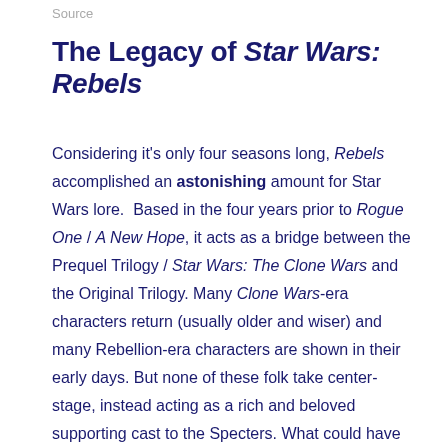Source
The Legacy of Star Wars: Rebels
Considering it's only four seasons long, Rebels accomplished an astonishing amount for Star Wars lore.  Based in the four years prior to Rogue One / A New Hope, it acts as a bridge between the Prequel Trilogy / Star Wars: The Clone Wars and the Original Trilogy. Many Clone Wars-era characters return (usually older and wiser) and many Rebellion-era characters are shown in their early days. But none of these folk take center-stage, instead acting as a rich and beloved supporting cast to the Specters. What could have been cheap pandering to fanservice became instead a critical part of the overall Star Wars